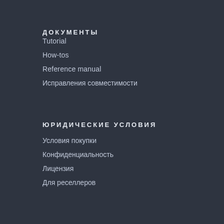ДОКУМЕНТЫ
Tutorial
How-tos
Reference manual
Исправления совместимости
ЮРИДИЧЕСКИЕ УСЛОВИЯ
Условия покупки
Конфиденциальность
Лицензия
Для реселлеров